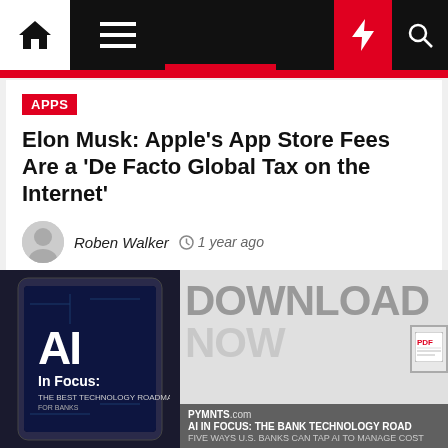Navigation bar with home, menu, dark mode, flash, and search icons
APPS
Elon Musk: Apple's App Store Fees Are a 'De Facto Global Tax on the Internet'
Roben Walker  1 year ago
[Figure (infographic): Download Now promotional banner for PYMNTS.com AI In Focus: The Bank Technology Road report, showing a tablet device with AI In Focus cover on the left and large DOWNLOAD NOW text on the right]
PYMNTS.com  AI IN FOCUS: THE BANK TECHNOLOGY ROAD  FIVE WAYS U.S. BANKS CAN TAP AI TO MANAGE COST